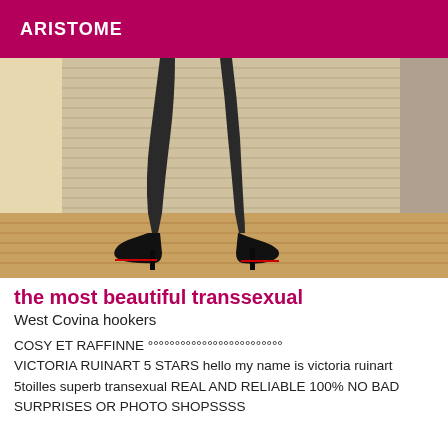ARISTOME
[Figure (photo): Photo showing legs of a person wearing black stockings and black high heels, standing on a wooden floor in front of wooden shuttered doors.]
the most beautiful transsexual
West Covina hookers
COSY ET RAFFINNE °°°°°°°°°°°°°°°°°°°°°°°°° VICTORIA RUINART 5 STARS hello my name is victoria ruinart 5toilles superb transexual REAL AND RELIABLE 100% NO BAD SURPRISES OR PHOTO SHOPSSSS